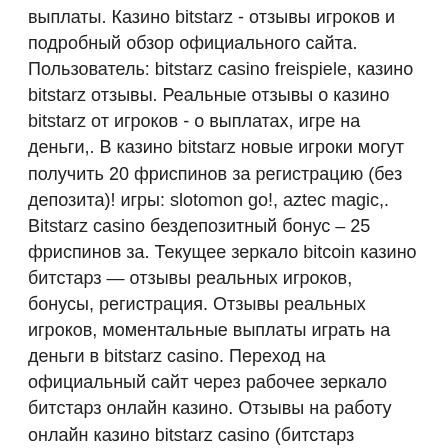выплаты. Казино bitstarz - отзывы игроков и подробный обзор официального сайта. Пользователь: bitstarz casino freispiele, казино bitstarz отзывы. Реальные отзывы о казино bitstarz от игроков - о выплатах, игре на деньги,. В казино bitstarz новые игроки могут получить 20 фриспинов за регистрацию (без депозита)! игры: slotomon go!, aztec magic,. Bitstarz casino бездепозитный бонус – 25 фриспинов за. Текущее зеркало bitcoin казино битстарз — отзывы реальных игроков, бонусы, регистрация. Отзывы реальных игроков, моментальные выплаты играть на деньги в bitstarz casino. Переход на официальный сайт через рабочее зеркало битстарз онлайн казино. Отзывы на работу онлайн казино bitstarz casino (битстарз казино) об игре на реальные деньги, скорости выплат и вывода средств, отдаче автоматов,. Отзывы игроков о казино битстарз. Мнение о bitstarz casino.